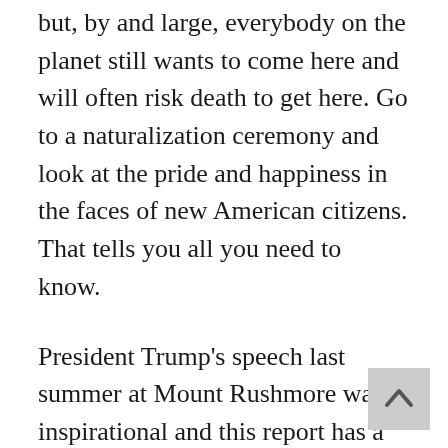but, by and large, everybody on the planet still wants to come here and will often risk death to get here. Go to a naturalization ceremony and look at the pride and happiness in the faces of new American citizens. That tells you all you need to know.
President Trump's speech last summer at Mount Rushmore was inspirational and this report has a similar voice, but, as stated, it is much more analytical about the forces aligned against America, our defeat of Fascism, Communism, and the